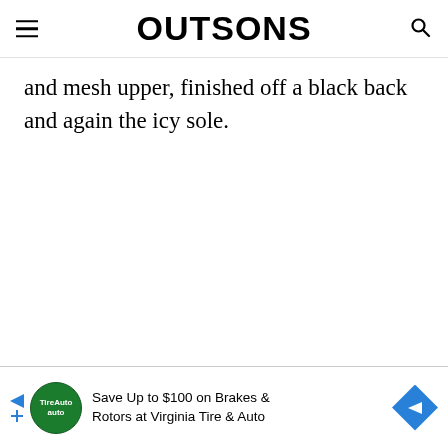OUTSONS
and mesh upper, finished off a black back and again the icy sole.
[Figure (other): Advertisement banner: Save Up to $100 on Brakes & Rotors at Virginia Tire & Auto, with TireAuto logo and blue diamond arrow icon]